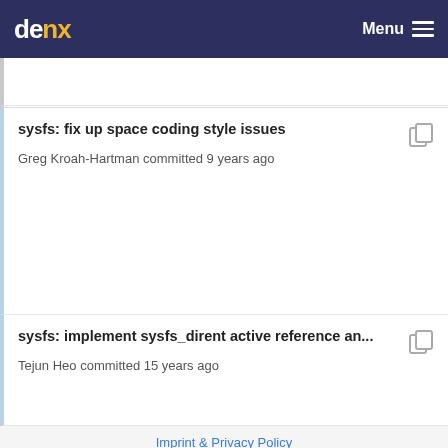denx Menu
sysfs: fix up space coding style issues
Greg Kroah-Hartman committed 9 years ago
sysfs: implement sysfs_dirent active reference an...
Tejun Heo committed 15 years ago
Imprint & Privacy Policy